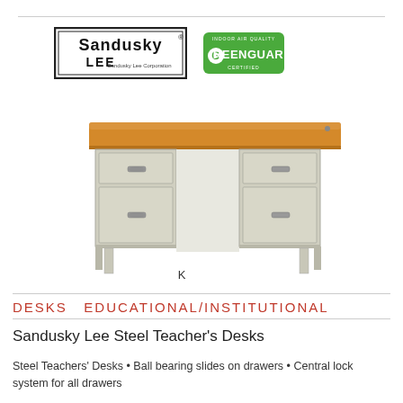[Figure (logo): Sandusky Lee Corporation logo and Greenguard certification logo]
[Figure (photo): Photograph of a steel teacher's desk with wood-grain top surface, two pedestals with drawers on each side, and metal legs. A letter K appears below the desk.]
DESKS EDUCATIONAL/INSTITUTIONAL
Sandusky Lee Steel Teacher's Desks
Steel Teachers' Desks • Ball bearing slides on drawers • Central lock system for all drawers